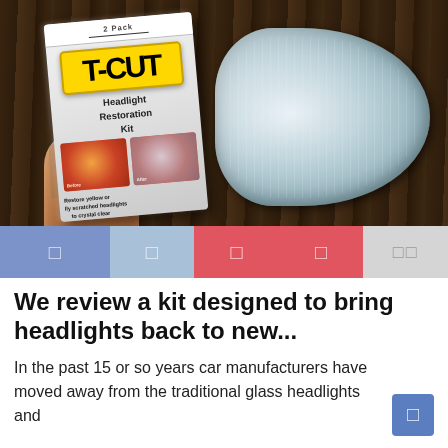[Figure (photo): A hand holding a T-CUT Headlight Restoration Kit (2 Pack) box, with a cloudy/yellowed car headlight visible in the background on a wooden surface.]
[Figure (infographic): Social media sharing bar with Facebook, Facebook Messenger, Pinterest, Twitter, and more buttons in blue, light blue, red, and grey colors.]
We review a kit designed to bring headlights back to new...
In the past 15 or so years car manufacturers have moved away from the traditional glass headlights and